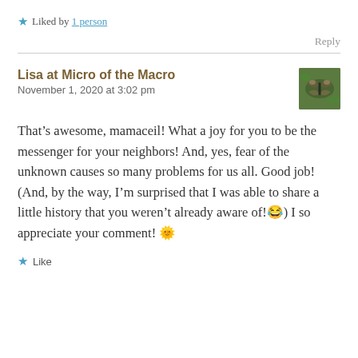★ Liked by 1 person
Reply
Lisa at Micro of the Macro
November 1, 2020 at 3:02 pm
That's awesome, mamaceil! What a joy for you to be the messenger for your neighbors! And, yes, fear of the unknown causes so many problems for us all. Good job! (And, by the way, I'm surprised that I was able to share a little history that you weren't already aware of!😄) I so appreciate your comment! 🌞
★ Like